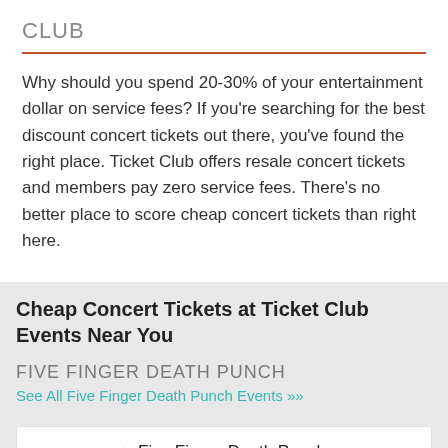CLUB
Why should you spend 20-30% of your entertainment dollar on service fees? If you’re searching for the best discount concert tickets out there, you’ve found the right place. Ticket Club offers resale concert tickets and members pay zero service fees. There’s no better place to score cheap concert tickets than right here.
Cheap Concert Tickets at Ticket Club Events Near You
FIVE FINGER DEATH PUNCH
See All Five Finger Death Punch Events »
| Date | Event |  |
| --- | --- | --- |
| SAT
Sep 10
6:30 PM | Five Finger Death Punch, Megadeth & The Hu
Jiffy Lube Live - Bristow, VA | › |